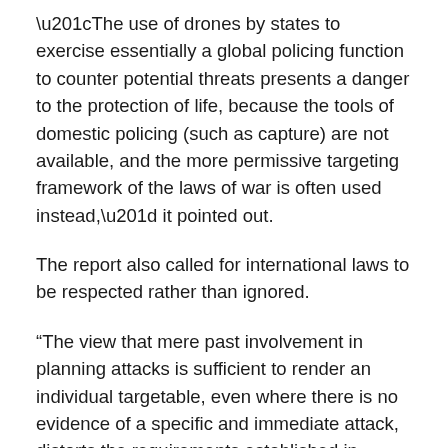“The use of drones by states to exercise essentially a global policing function to counter potential threats presents a danger to the protection of life, because the tools of domestic policing (such as capture) are not available, and the more permissive targeting framework of the laws of war is often used instead,” it pointed out.
The report also called for international laws to be respected rather than ignored.
“The view that mere past involvement in planning attacks is sufficient to render an individual targetable, even where there is no evidence of a specific and immediate attack, distorts the requirements established in international human rights law,” stated the report.
Countries cannot consent “to the violation of their obligations under international humanitarian law or